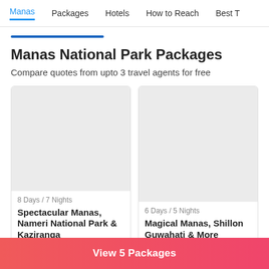Manas | Packages | Hotels | How to Reach | Best T
Manas National Park Packages
Compare quotes from upto 3 travel agents for free
[Figure (photo): Package card image placeholder – 8 Days / 7 Nights – Spectacular Manas, Nameri National Park & Kaziranga]
[Figure (photo): Package card image placeholder – 6 Days / 5 Nights – Magical Manas, Shillon Guwahati & More]
View 5 Packages